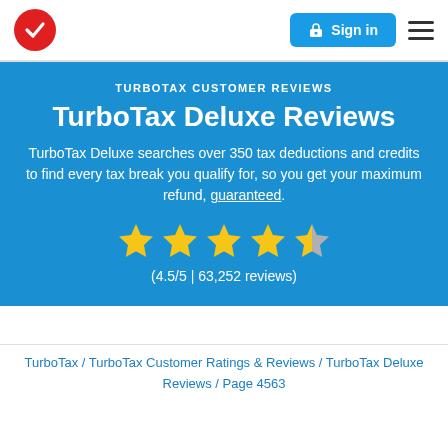[Figure (logo): TurboTax red circle with white checkmark logo]
[Figure (screenshot): Sign in button with lock icon and hamburger menu icon]
TURBOTAX CUSTOMER REVIEWS
TurboTax Deluxe Reviews
TurboTax Deluxe searches over 350 tax deductions and credits to find every tax break you qualify for, so you get your maximum refund, guaranteed.
[Figure (other): 4.5 out of 5 star rating shown as 4 full yellow stars and 1 half yellow/grey star]
(4.5/5 | 63,252 reviews)
TurboTax / TurboTax Customer Ratings & Reviews / TurboTax Deluxe Reviews / Page 4563